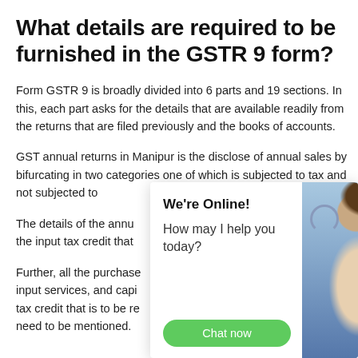What details are required to be furnished in the GSTR 9 form?
Form GSTR 9 is broadly divided into 6 parts and 19 sections. In this, each part asks for the details that are available readily from the returns that are filed previously and the books of accounts.
GST annual returns in Manipur is the disclose of annual sales by bifurcating in two categories one of which is subjected to tax and not subjected to
The details of the annu... the input tax credit that
Further, all the purchase... input services, and capi... tax credit that is to be re... need to be mentioned.
[Figure (other): Live chat widget overlay showing a customer service representative wearing a headset, with text 'We're Online! How may I help you today?' and a green 'Chat now' button.]